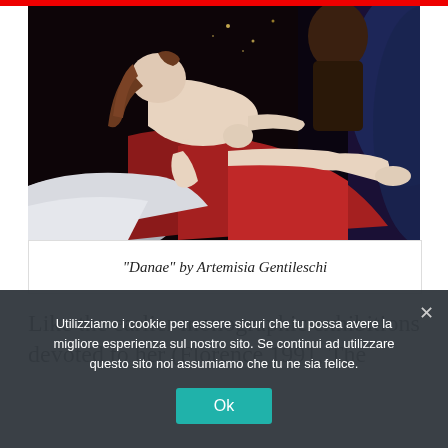[Figure (photo): A classical oil painting depicting Danae reclining on a bed with red and white drapery, with a figure in the background. The scene is dimly lit with a dark sky background.]
"Danae" by Artemisia Gentileschi
Like the earlier monographic exhibitions devoted to her (Florence 1991, The
Utilizziamo i cookie per essere sicuri che tu possa avere la migliore esperienza sul nostro sito. Se continui ad utilizzare questo sito noi assumiamo che tu ne sia felice.